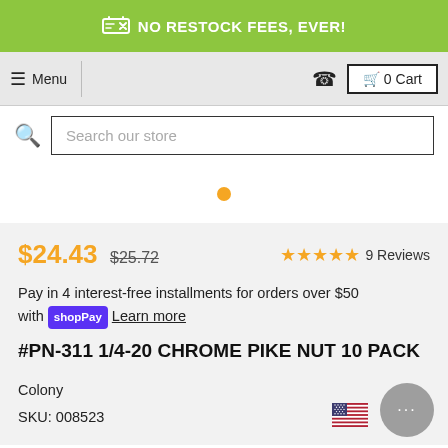NO RESTOCK FEES, EVER!
≡ Menu
📞  🛒 0 Cart
Search our store
$24.43  $25.72  ★★★★★  9 Reviews
Pay in 4 interest-free installments for orders over $50 with shopPay  Learn more
#PN-311 1/4-20 CHROME PIKE NUT 10 PACK
Colony
SKU: 008523